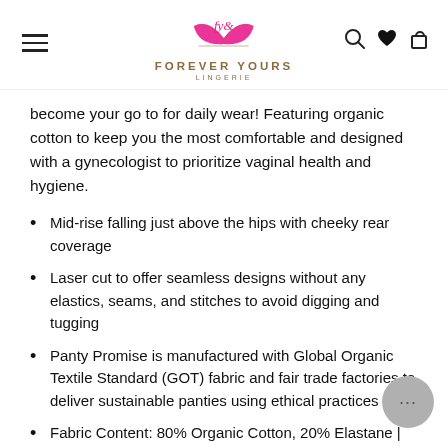Forever Yours Lingerie
become your go to for daily wear! Featuring organic cotton to keep you the most comfortable and designed with a gynecologist to prioritize vaginal health and hygiene.
Mid-rise falling just above the hips with cheeky rear coverage
Laser cut to offer seamless designs without any elastics, seams, and stitches to avoid digging and tugging
Panty Promise is manufactured with Global Organic Textile Standard (GOT) fabric and fair trade factories to deliver sustainable panties using ethical practices
Fabric Content: 80% Organic Cotton, 20% Elastane | 100% Organic Cotton gusset
These are a FINAL SALE